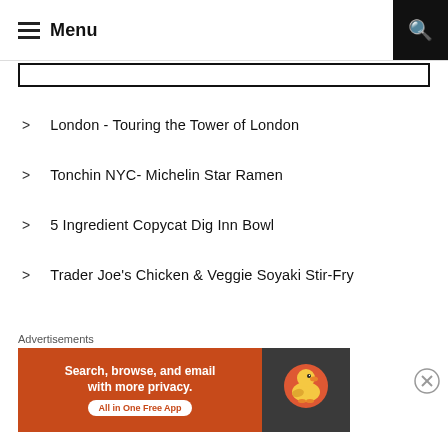Menu
London - Touring the Tower of London
Tonchin NYC- Michelin Star Ramen
5 Ingredient Copycat Dig Inn Bowl
Trader Joe's Chicken & Veggie Soyaki Stir-Fry
London - Westminster Abbey
Celebrating my Birthday in Michigan
Ai Ki Ya NYC - Candy Floss Hot Pot
The Emily - West Village NYC
[Figure (illustration): DuckDuckGo advertisement banner: orange background with text 'Search, browse, and email with more privacy. All in One Free App' and DuckDuckGo logo on dark background]